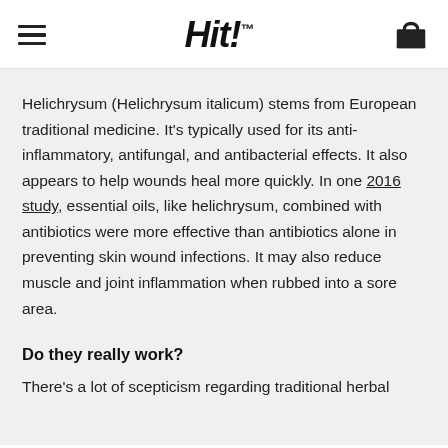Hit!™
Helichrysum (Helichrysum italicum) stems from European traditional medicine. It's typically used for its anti-inflammatory, antifungal, and antibacterial effects. It also appears to help wounds heal more quickly. In one 2016 study, essential oils, like helichrysum, combined with antibiotics were more effective than antibiotics alone in preventing skin wound infections. It may also reduce muscle and joint inflammation when rubbed into a sore area.
Do they really work?
There's a lot of scepticism regarding traditional herbal